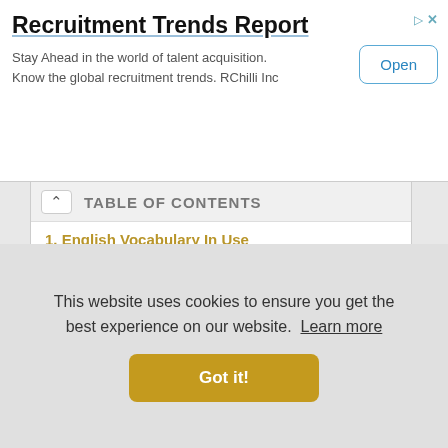[Figure (screenshot): Advertisement banner for Recruitment Trends Report by RChilli Inc with an Open button]
TABLE OF CONTENTS
1. English Vocabulary In Use
2. Test Your English Vocabulary
3. Oxford Word Skills
4. 4000 Essential English Words
5. Vocabulary Building Series
6. IELTS Vocabulary Booster
This website uses cookies to ensure you get the best experience on our website. Learn more
Got it!